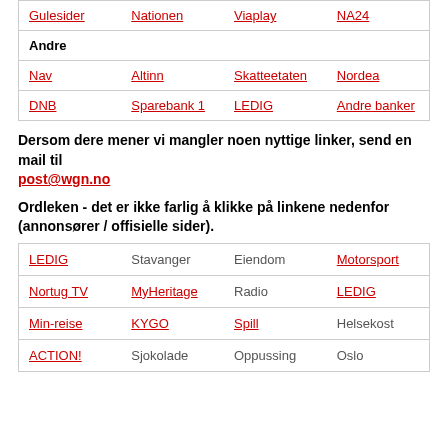| Gulesider | Nationen | Viaplay | NA24 |
| Andre |  |  |  |
| Nav | Altinn | Skatteetaten | Nordea |
| DNB | Sparebank 1 | LEDIG | Andre banker |
Dersom dere mener vi mangler noen nyttige linker, send en mail til post@wgn.no
Ordleken - det er ikke farlig å klikke på linkene nedenfor (annonsører / offisielle sider).
| LEDIG | Stavanger | Eiendom | Motorsport |
| Nortug TV | MyHeritage | Radio | LEDIG |
| Min-reise | KYGO | Spill | Helsekost |
| ACTION! | Sjokolade | Oppussing | Oslo |